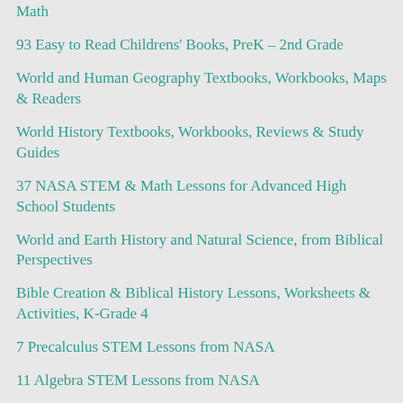Math
93 Easy to Read Childrens' Books, PreK – 2nd Grade
World and Human Geography Textbooks, Workbooks, Maps & Readers
World History Textbooks, Workbooks, Reviews & Study Guides
37 NASA STEM & Math Lessons for Advanced High School Students
World and Earth History and Natural Science, from Biblical Perspectives
Bible Creation & Biblical History Lessons, Worksheets & Activities, K-Grade 4
7 Precalculus STEM Lessons from NASA
11 Algebra STEM Lessons from NASA
Heritage History – 140 Classic Books for High School and Beyond
JavaScript Algorithms and Data Structures Online Course
Heritage History – 140 Classic Books for Middle Grades